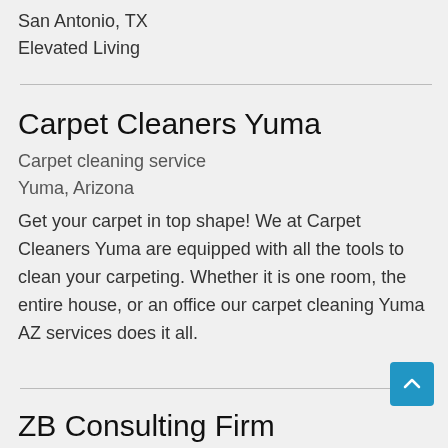San Antonio, TX
Elevated Living
Carpet Cleaners Yuma
Carpet cleaning service
Yuma, Arizona
Get your carpet in top shape! We at Carpet Cleaners Yuma are equipped with all the tools to clean your carpeting. Whether it is one room, the entire house, or an office our carpet cleaning Yuma AZ services does it all.
ZB Consulting Firm